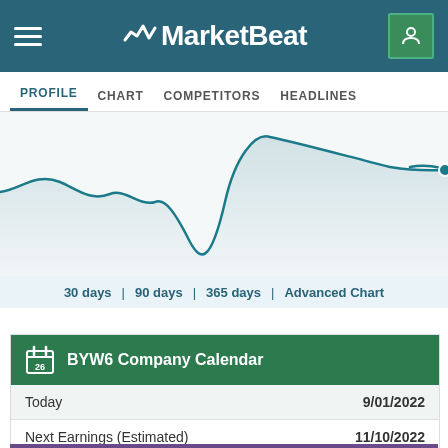MarketBeat
PROFILE | CHART | COMPETITORS | HEADLINES
[Figure (line-chart): Line chart showing stock price movement with x-axis dates 4, 7, 10, 13, 16, 19, 22, 25, Sep 1]
30 days | 90 days | 365 days | Advanced Chart
|  |  |
| --- | --- |
| Today | 9/01/2022 |
| Next Earnings (Estimated) | 11/10/2022 |
BYW6 Company Calendar
Industry, Sector and Symbol